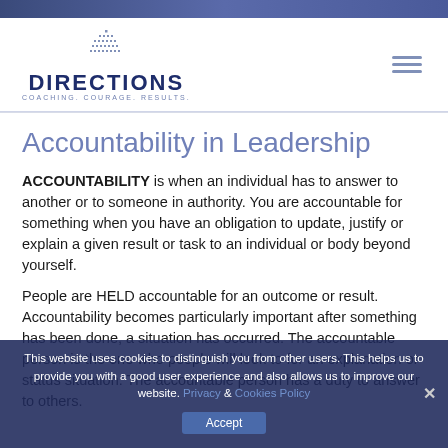DIRECTIONS COACHING. COURAGE. RESULTS.
Accountability in Leadership
ACCOUNTABILITY is when an individual has to answer to another or to someone in authority. You are accountable for something when you have an obligation to update, justify or explain a given result or task to an individual or body beyond yourself.
People are HELD accountable for an outcome or result. Accountability becomes particularly important after something has been done, a situation has occurred. The accountable person is the one who people will look to for an explanation or status situation. The accountable person has a duty to answer to others.
This website uses cookies to distinguish you from other users. This helps us to provide you with a good user experience and also allows us to improve our website. Privacy & Cookies Policy Accept